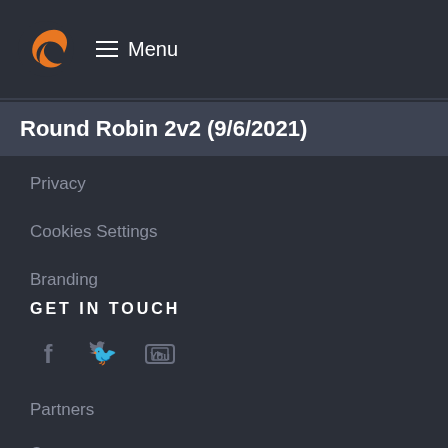Menu
Round Robin 2v2 (9/6/2021)
Privacy
Cookies Settings
Branding
GET IN TOUCH
[Figure (illustration): Social media icons: Facebook, Twitter, YouTube]
Partners
Contact
Advertise
Blog